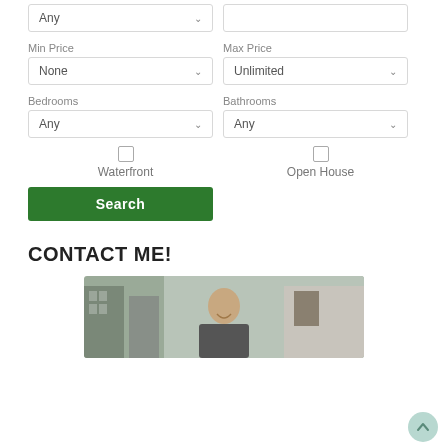Any (dropdown)
Min Price
None (dropdown)
Max Price
Unlimited (dropdown)
Bedrooms
Any (dropdown)
Bathrooms
Any (dropdown)
Waterfront
Open House
Search
CONTACT ME!
[Figure (photo): Photo of a man smiling outdoors in an urban setting with buildings and street in background]